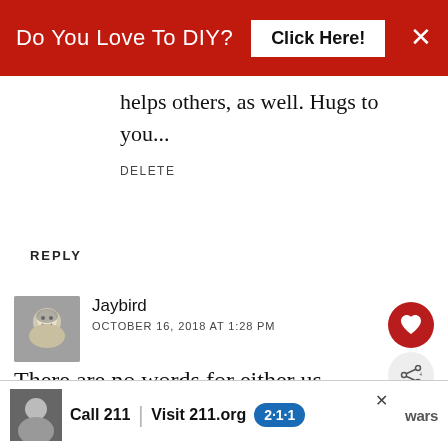[Figure (screenshot): Red advertisement banner at top: 'Do You Love To DIY? Click Here!' with X close button]
helps others, as well. Hugs to you...
DELETE
REPLY
Jaybird
OCTOBER 16, 2018 AT 1:28 PM
There are no words for either us..... I can only send you a hu... you know that there are others who feel the same. My Mom and Dad
[Figure (screenshot): Bottom advertisement banner: Call 211 | Visit 211.org with 2-1-1 badge logo]
[Figure (screenshot): What's Next widget: A Sentimental Treasure...]